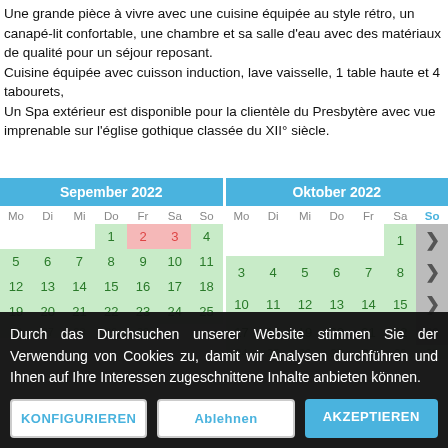Une grande pièce à vivre avec une cuisine équipée au style rétro, un canapé-lit confortable, une chambre et sa salle d'eau avec des matériaux de qualité pour un séjour reposant.
Cuisine équipée avec cuisson induction, lave vaisselle, 1 table haute et 4 tabourets,
Un Spa extérieur est disponible pour la clientèle du Presbytère avec vue imprenable sur l'église gothique classée du XII° siècle.
| Mo | Di | Mi | Do | Fr | Sa | So |
| --- | --- | --- | --- | --- | --- | --- |
|  |  |  | 1 | 2 | 3 | 4 |
| 5 | 6 | 7 | 8 | 9 | 10 | 11 |
| 12 | 13 | 14 | 15 | 16 | 17 | 18 |
| 19 | 20 | 21 | 22 | 23 | 24 | 25 |
| 26 | 27 | 28 | 29 | 30 |  |  |
| Mo | Di | Mi | Do | Fr | Sa | So |
| --- | --- | --- | --- | --- | --- | --- |
|  |  |  |  |  | 1 | 2 |
| 3 | 4 | 5 | 6 | 7 | 8 | 9 |
| 10 | 11 | 12 | 13 | 14 | 15 | 16 |
| 17 | 18 | 19 | 20 | 21 | 22 | 23 |
| 24 | 25 | 26 | 27 | 28 | 29 | 30 |
| 31 |  |  |  |  |  |  |
Durch das Durchsuchen unserer Website stimmen Sie der Verwendung von Cookies zu, damit wir Analysen durchführen und Ihnen auf Ihre Interessen zugeschnittene Inhalte anbieten können.
KONFIGURIEREN | Ablehnen | AKZEPTIEREN